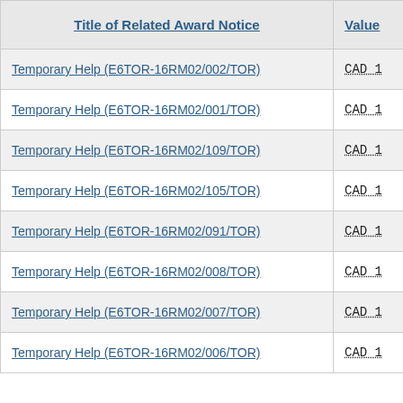| Title of Related Award Notice | Value |
| --- | --- |
| Temporary Help (E6TOR-16RM02/002/TOR) | CAD 1 |
| Temporary Help (E6TOR-16RM02/001/TOR) | CAD 1 |
| Temporary Help (E6TOR-16RM02/109/TOR) | CAD 1 |
| Temporary Help (E6TOR-16RM02/105/TOR) | CAD 1 |
| Temporary Help (E6TOR-16RM02/091/TOR) | CAD 1 |
| Temporary Help (E6TOR-16RM02/008/TOR) | CAD 1 |
| Temporary Help (E6TOR-16RM02/007/TOR) | CAD 1 |
| Temporary Help (E6TOR-16RM02/006/TOR) | CAD 1 |